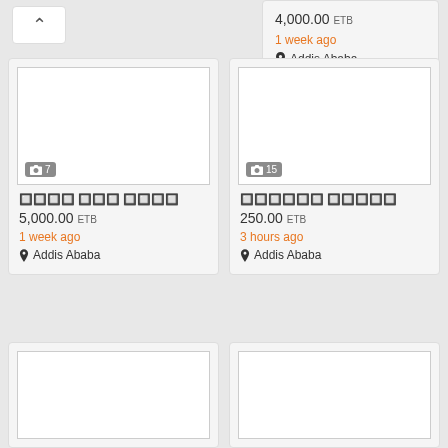[Figure (screenshot): Partial listing card top showing price 4,000.00 ETB, 1 week ago, Addis Ababa]
4,000.00 ETB
1 week ago
Addis Ababa
[Figure (screenshot): Listing card with 7 photos, price 5,000.00 ETB, 1 week ago, Addis Ababa]
5,000.00 ETB
1 week ago
Addis Ababa
[Figure (screenshot): Listing card with 15 photos, price 250.00 ETB, 3 hours ago, Addis Ababa]
250.00 ETB
3 hours ago
Addis Ababa